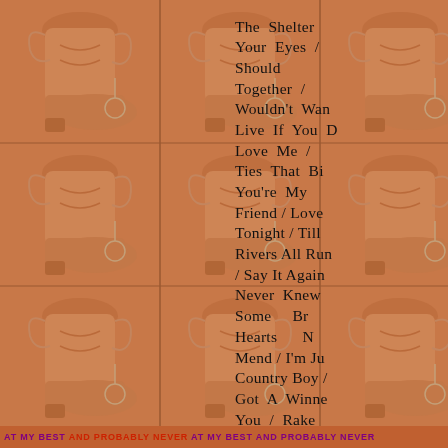[Figure (illustration): Repeating tiled background pattern showing cowboy boots illustration in orange/terracotta tones arranged in a grid]
The Shelter / Your Eyes / Should Together / Wouldn't Want Live If You D Love Me / Ties That Bi You're My Friend / Love Tonight / Till Rivers All Run / Say It Again Never Knew Some Br Hearts N Mend / I'm Ju Country Boy / Got A Winne You / Rake Ramblin' Ma Tulsa Time / Down Beside It Must Be Lo Love Me
[Figure (photo): Small album cover thumbnail in bottom right area, dark golden/brown tones]